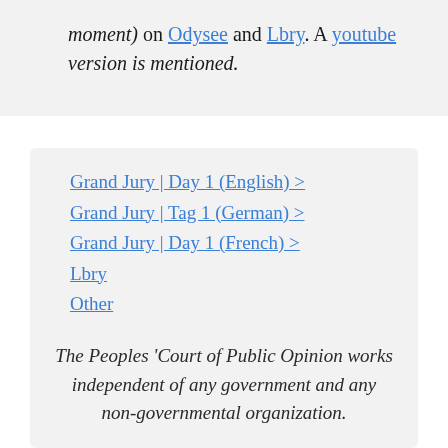moment) on Odysee and Lbry. A youtube version is mentioned.
Grand Jury | Day 1 (English) >
Grand Jury | Tag 1 (German) >
Grand Jury | Day 1 (French) >
Lbry
Other
The Peoples 'Court of Public Opinion works independent of any government and any non-governmental organization.